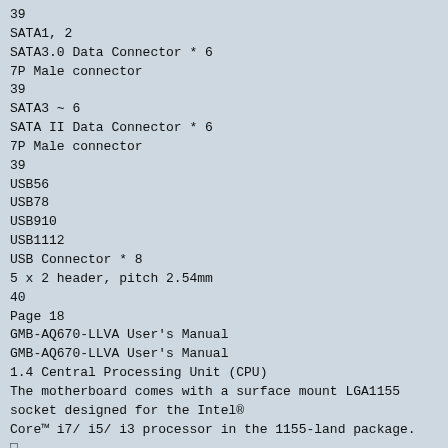39
SATA1, 2
SATA3.0 Data Connector * 6
7P Male connector
39
SATA3 ~ 6
SATA II Data Connector * 6
7P Male connector
39
USB56
USB78
USB910
USB1112
USB Connector * 8
5 x 2 header, pitch 2.54mm
40
Page 18
GMB-AQ670-LLVA User's Manual
GMB-AQ670-LLVA User's Manual
1.4 Central Processing Unit (CPU)
The motherboard comes with a surface mount LGA1155 socket designed for the Intel®
Core™ i7/ i5/ i3 processor in the 1155-land package.
 
 
 
 
 
Your boxed Intel® Core™ i7/ i5/ i3 LGA1155 processor package
should come with installation instructions for the CPU, fan and
heatsink assembly. If the instructions in this